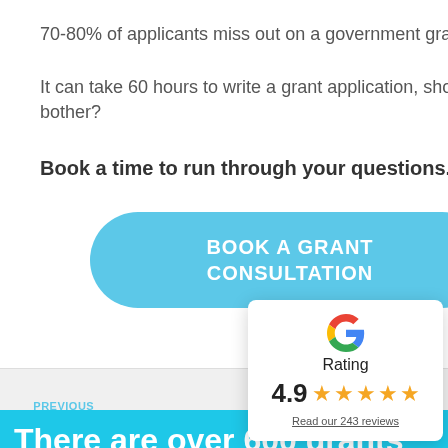70-80% of applicants miss out on a government grant.
It can take 60 hours to write a grant application, should you bother?
Book a time to run through your questions.
BOOK A GRANT CONSULTATION
PREVIOUS
First Peoples Investment Program
[Figure (logo): Google G logo with Rating label, 4.9 stars, and Read our 243 reviews text]
There are over 600 grants